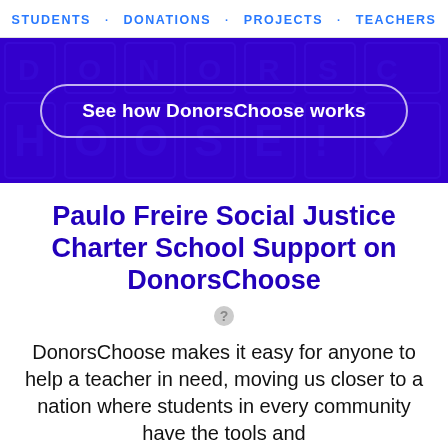STUDENTS · DONATIONS · PROJECTS · TEACHERS
[Figure (other): Purple banner with decorative background pattern and a pill-shaped button reading 'See how DonorsChoose works']
Paulo Freire Social Justice Charter School Support on DonorsChoose
DonorsChoose makes it easy for anyone to help a teacher in need, moving us closer to a nation where students in every community have the tools and